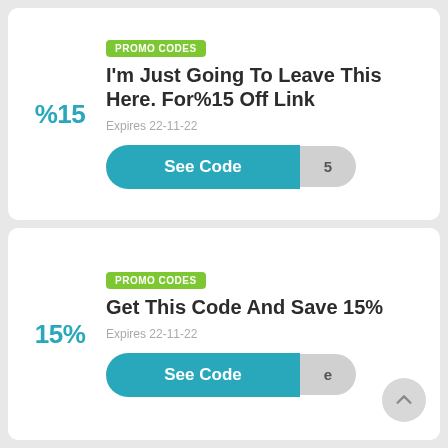%15
PROMO CODES
I'm Just Going To Leave This Here. For%15 Off Link
Expires 22-11-22
See Code
15%
PROMO CODES
Get This Code And Save 15%
Expires 22-11-22
See Code